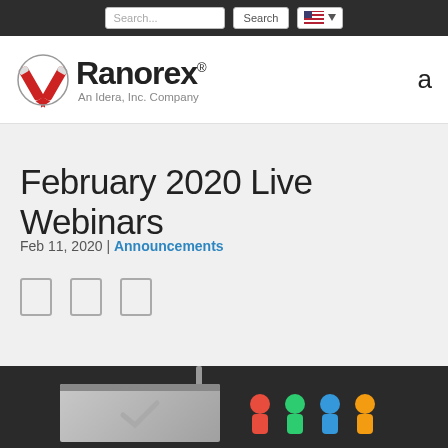Search... | Search | [US flag dropdown]
[Figure (logo): Ranorex logo with crossed pencils icon, text 'Ranorex' with registered trademark, tagline 'An Idera, Inc. Company']
February 2020 Live Webinars
Feb 11, 2020 | Announcements
[Figure (other): Three small social share icon boxes (outline rectangles)]
[Figure (illustration): Dark background with a presentation screen/projector graphic and colorful figures]